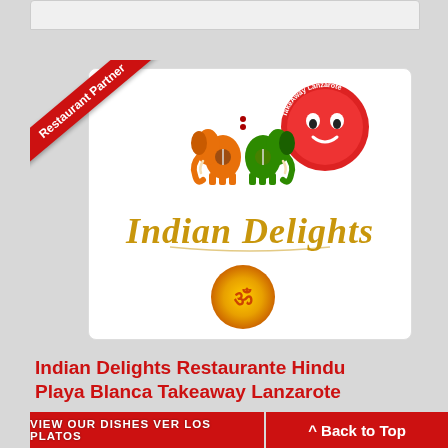[Figure (logo): Indian Delights restaurant logo with elephant graphic and TakeAway Lanzarote circular logo, with decorative Indian-style 'Indian Delights' text and Om symbol]
Indian Delights Restaurante Hindu Playa Blanca Takeaway Lanzarote
Ord